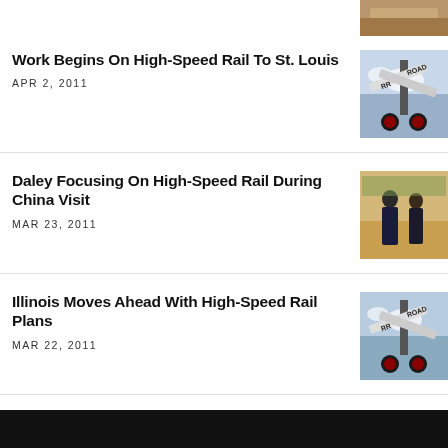[Figure (photo): Partial image at top right, wooden/brown tones]
Work Begins On High-Speed Rail To St. Louis
APR 2, 2011
[Figure (photo): Railroad crossing sign against cloudy sky with signal lights]
Daley Focusing On High-Speed Rail During China Visit
MAR 23, 2011
[Figure (photo): Two men in suits standing and talking in a formal room]
Illinois Moves Ahead With High-Speed Rail Plans
MAR 22, 2011
[Figure (photo): Railroad crossing sign against cloudy sky with signal lights]
Renewed Call For High-Speed Rail In Illinois